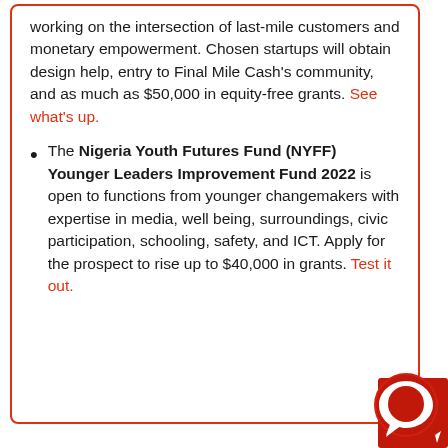working on the intersection of last-mile customers and monetary empowerment. Chosen startups will obtain design help, entry to Final Mile Cash's community, and as much as $50,000 in equity-free grants. See what's up.
The Nigeria Youth Futures Fund (NYFF) Younger Leaders Improvement Fund 2022 is open to functions from younger changemakers with expertise in media, well being, surroundings, civic participation, schooling, safety, and ICT. Apply for the prospect to rise up to $40,000 in grants. Test it out.